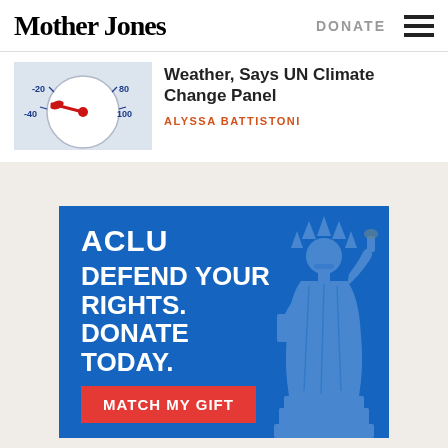Mother Jones | DONATE
Weather, Says UN Climate Change Panel
ALYSSA BATTISTONI
[Figure (photo): Thermometer or gauge with red indicator, blue scale markings showing numbers -20, -40 and 80, 100]
[Figure (infographic): ACLU advertisement on blue background. Text: ACLU, DEFEND YOUR RIGHTS. DONATE TODAY. Button: MATCH MY GIFT. Statue of Liberty crown illustration on right side.]